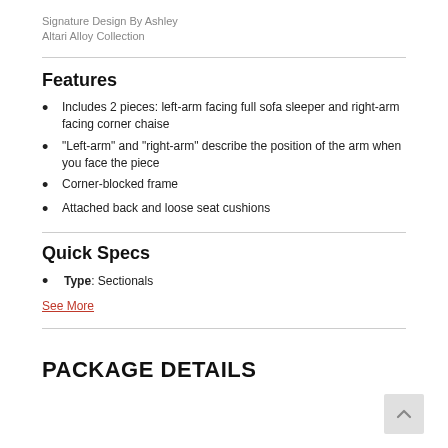Signature Design By Ashley
Altari Alloy Collection
Features
Includes 2 pieces: left-arm facing full sofa sleeper and right-arm facing corner chaise
"Left-arm" and "right-arm" describe the position of the arm when you face the piece
Corner-blocked frame
Attached back and loose seat cushions
Quick Specs
Type: Sectionals
See More
PACKAGE DETAILS